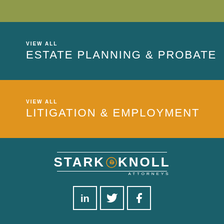[Figure (other): Olive/yellow-green color bar at top]
VIEW ALL
ESTATE PLANNING & PROBATE
VIEW ALL
LITIGATION & EMPLOYMENT
[Figure (logo): Stark & Knoll Attorneys logo with decorative leaf icon]
[Figure (other): Social media icons: LinkedIn, Twitter, Facebook]
CONTACT | NEWS | PRIVACY